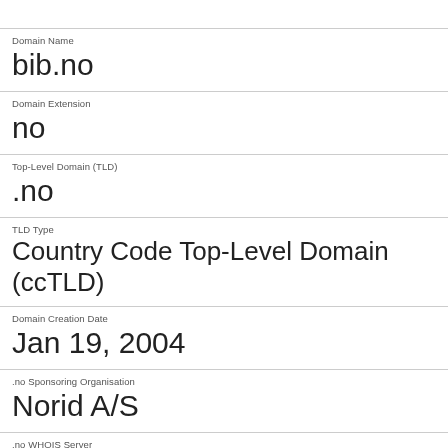| Domain Name | bib.no |
| Domain Extension | no |
| Top-Level Domain (TLD) | .no |
| TLD Type | Country Code Top-Level Domain (ccTLD) |
| Domain Creation Date | Jan 19, 2004 |
| .no Sponsoring Organisation | Norid A/S |
| .no WHOIS Server | whois.norid.no |